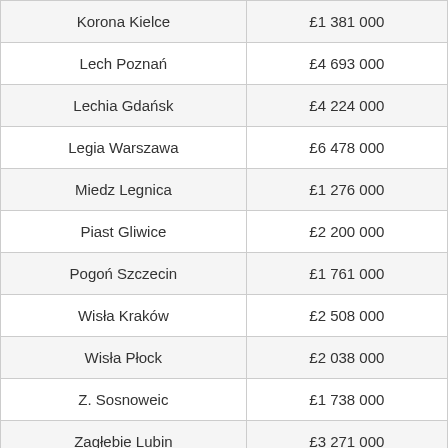| Club | Value |
| --- | --- |
| Korona Kielce | £1 381 000 |
| Lech Poznań | £4 693 000 |
| Lechia Gdańsk | £4 224 000 |
| Legia Warszawa | £6 478 000 |
| Miedz Legnica | £1 276 000 |
| Piast Gliwice | £2 200 000 |
| Pogoń Szczecin | £1 761 000 |
| Wisła Kraków | £2 508 000 |
| Wisła Płock | £2 038 000 |
| Z. Sosnoweic | £1 738 000 |
| Zagłebie Lubin | £3 271 000 |